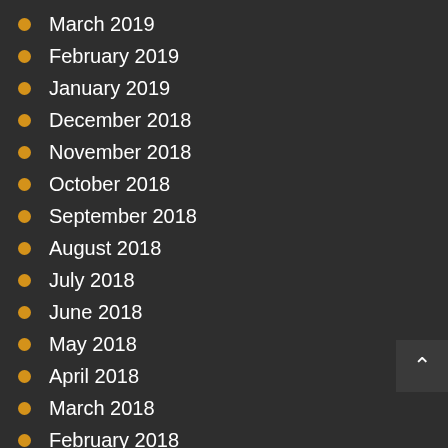March 2019
February 2019
January 2019
December 2018
November 2018
October 2018
September 2018
August 2018
July 2018
June 2018
May 2018
April 2018
March 2018
February 2018
January 2018